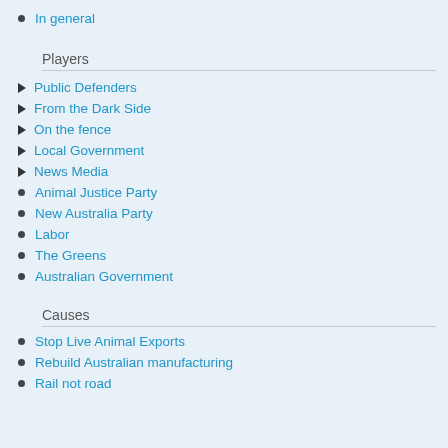In general
Players
Public Defenders
From the Dark Side
On the fence
Local Government
News Media
Animal Justice Party
New Australia Party
Labor
The Greens
Australian Government
Causes
Stop Live Animal Exports
Rebuild Australian manufacturing
Rail not road